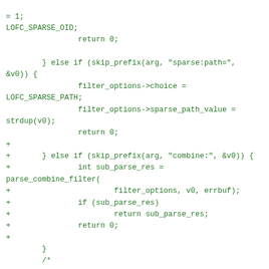Code snippet showing a diff/patch for a git filter option parser in C, including sparse:path= and combine: filter handling, and a comment about updating _git_fetch() in git-completion.bash.